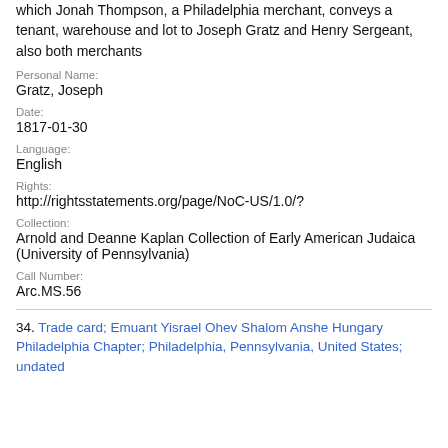which Jonah Thompson, a Philadelphia merchant, conveys a tenant, warehouse and lot to Joseph Gratz and Henry Sergeant, also both merchants
Personal Name:
Gratz, Joseph
Date:
1817-01-30
Language:
English
Rights:
http://rightsstatements.org/page/NoC-US/1.0/?
Collection:
Arnold and Deanne Kaplan Collection of Early American Judaica (University of Pennsylvania)
Call Number:
Arc.MS.56
34. Trade card; Emuant Yisrael Ohev Shalom Anshe Hungary Philadelphia Chapter; Philadelphia, Pennsylvania, United States; undated